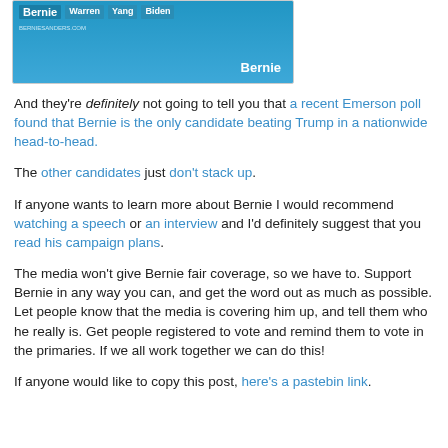[Figure (screenshot): Screenshot of a Bernie Sanders campaign graphic showing candidate name bars (Bernie, Warren, Yang, Biden) on a blue background with berniesanders.com URL and 'Bernie' text logo.]
And they're definitely not going to tell you that a recent Emerson poll found that Bernie is the only candidate beating Trump in a nationwide head-to-head.
The other candidates just don't stack up.
If anyone wants to learn more about Bernie I would recommend watching a speech or an interview and I'd definitely suggest that you read his campaign plans.
The media won't give Bernie fair coverage, so we have to. Support Bernie in any way you can, and get the word out as much as possible. Let people know that the media is covering him up, and tell them who he really is. Get people registered to vote and remind them to vote in the primaries. If we all work together we can do this!
If anyone would like to copy this post, here's a pastebin link.